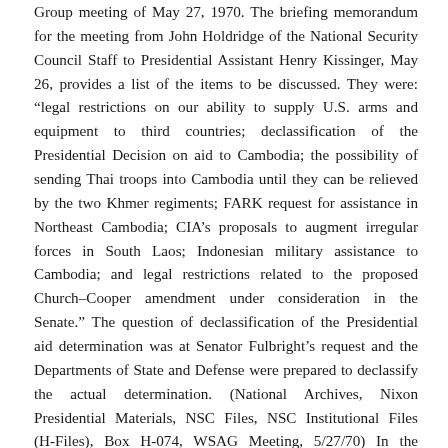Group meeting of May 27, 1970. The briefing memorandum for the meeting from John Holdridge of the National Security Council Staff to Presidential Assistant Henry Kissinger, May 26, provides a list of the items to be discussed. They were: “legal restrictions on our ability to supply U.S. arms and equipment to third countries; declassification of the Presidential Decision on aid to Cambodia; the possibility of sending Thai troops into Cambodia until they can be relieved by the two Khmer regiments; FARK request for assistance in Northeast Cambodia; CIA’s proposals to augment irregular forces in South Laos; Indonesian military assistance to Cambodia; and legal restrictions related to the proposed Church–Cooper amendment under consideration in the Senate.” The question of declassification of the Presidential aid determination was at Senator Fulbright’s request and the Departments of State and Defense were prepared to declassify the actual determination. (National Archives, Nixon Presidential Materials, NSC Files, NSC Institutional Files (H-Files), Box H-074, WSAG Meeting, 5/27/70) In the briefing memorandum for the June 2 Washington Special Actions Group Meeting, Holdridge reminded Kissinger that, “At the May 27 WSAG Meeting